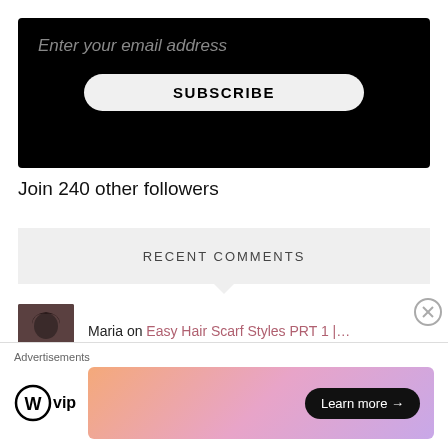[Figure (screenshot): Email subscription input box on black background with placeholder text 'Enter your email address' and a SUBSCRIBE button]
Join 240 other followers
RECENT COMMENTS
Maria on Easy Hair Scarf Styles PRT 1 |...
Anonymous on Easy Hair Scarf Styles PRT 1 |...
[Figure (screenshot): Advertisement bar with WordPress VIP logo and a colorful gradient Learn more banner]